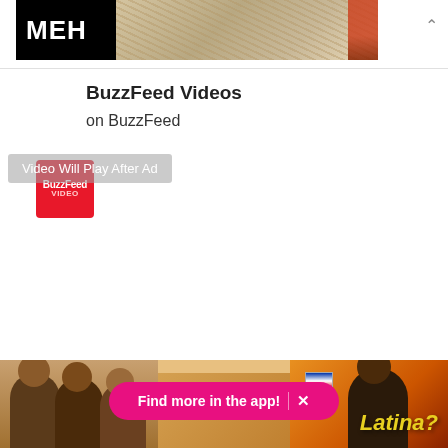[Figure (photo): MEH advertisement banner with logo and food image (noodles/pasta) at top of page]
[Figure (logo): BuzzFeed Video logo (red square with white text)]
BuzzFeed Videos
on BuzzFeed
Video Will Play After Ad
[Figure (photo): Bottom strip showing people photos and 'Latina?' text on orange background]
Find more in the app!